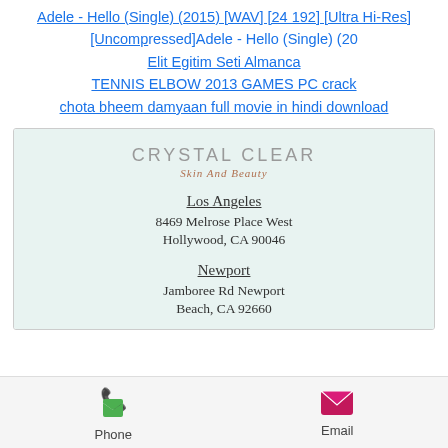Adele - Hello (Single) (2015) [WAV] [24 192] [Ultra Hi-Res] [Uncompressed]Adele - Hello (Single) (20
Elit Egitim Seti Almanca
TENNIS ELBOW 2013 GAMES PC crack
chota bheem damyaan full movie in hindi download
[Figure (screenshot): Crystal Clear Skin And Beauty business card/listing with locations in Los Angeles (8469 Melrose Place West, Hollywood, CA 90046) and Newport (Jamboree Rd Newport Beach, CA 92660), with Phone and Email contact buttons at the bottom.]